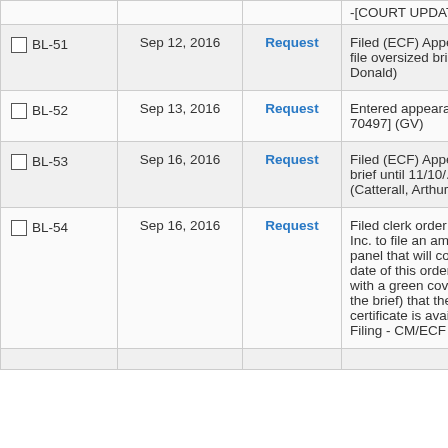| ID | Date | Type | Description |
| --- | --- | --- | --- |
| BL-51 | Sep 12, 2016 | Request | Filed (ECF) Appell... file oversized bri... Donald) |
| BL-52 | Sep 13, 2016 | Request | Entered appeara... 70497] (GV) |
| BL-53 | Sep 16, 2016 | Request | Filed (ECF) Appell... brief until 11/10/... (Catterall, Arthur) |
| BL-54 | Sep 16, 2016 | Request | Filed clerk order ... Inc. to file an ami... panel that will co... date of this order... with a green cove... the brief) that the... certificate is avail... Filing - CM/ECF li... |